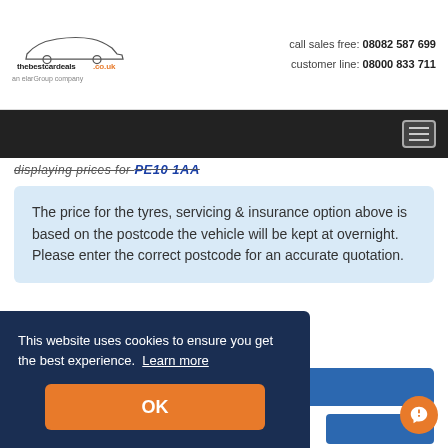call sales free: 08082 587 699
customer line: 08000 833 711
[Figure (logo): thebestcardeals.co.uk logo with car silhouette illustration and tagline 'an elarGroup company']
displaying prices for PE10 1AA
The price for the tyres, servicing & insurance option above is based on the postcode the vehicle will be kept at overnight. Please enter the correct postcode for an accurate quotation.
Request a quote ✓
This website uses cookies to ensure you get the best experience. Learn more
OK